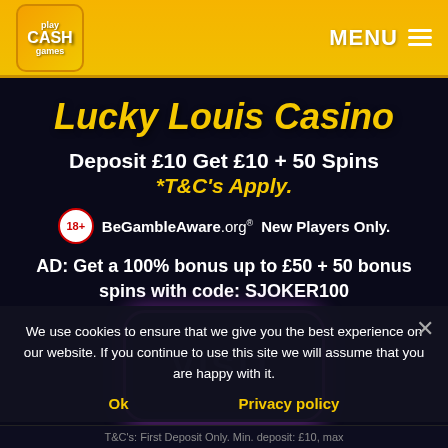Play Cash Games | MENU
Lucky Louis Casino
Deposit £10 Get £10 + 50 Spins *T&C's Apply.
18+ BeGambleAware.org New Players Only.
AD: Get a 100% bonus up to £50 + 50 bonus spins with code: SJOKER100
[Figure (other): VISIT button with purple neon rounded rectangle border]
We use cookies to ensure that we give you the best experience on our website. If you continue to use this site we will assume that you are happy with it.
Ok   Privacy policy
T&C's: First Deposit Only. Min. deposit: £10, max